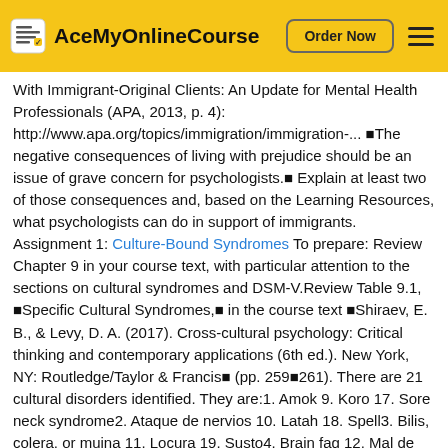AceMyOnlineCourse | Order Now
With Immigrant-Original Clients: An Update for Mental Health Professionals (APA, 2013, p. 4): http://www.apa.org/topics/immigration/immigration-... ®The negative consequences of living with prejudice should be an issue of grave concern for psychologists.® Explain at least two of those consequences and, based on the Learning Resources, what psychologists can do in support of immigrants. Assignment 1: Culture-Bound Syndromes To prepare: Review Chapter 9 in your course text, with particular attention to the sections on cultural syndromes and DSM-V.Review Table 9.1, ®Specific Cultural Syndromes,® in the course text ®Shiraev, E. B., & Levy, D. A. (2017). Cross-cultural psychology: Critical thinking and contemporary applications (6th ed.). New York, NY: Routledge/Taylor & Francis® (pp. 259®261). There are 21 cultural disorders identified. They are:1. Amok 9. Koro 17. Sore neck syndrome2. Ataque de nervios 10. Latah 18. Spell3. Bilis, colera, or muina 11. Locura 19. Susto4. Brain fag 12. Mal de ojo (®evil eye®) 20. Taijin kyofusho5. Dhat 13. Pibloktoq 21. Zar6.